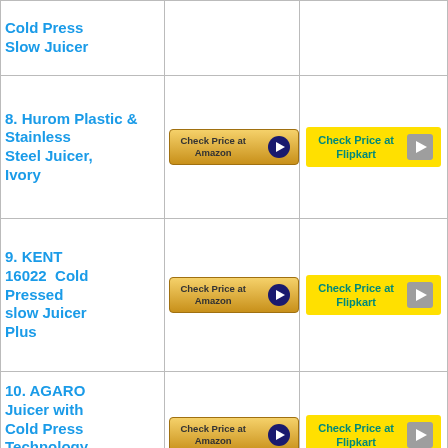| Product | Amazon | Flipkart |
| --- | --- | --- |
| Cold Press Slow Juicer | Check Price at Amazon |  |
| 8. Hurom Plastic & Stainless Steel Juicer, Ivory | Check Price at Amazon | Check Price at Flipkart |
| 9. KENT 16022  Cold Pressed slow Juicer Plus | Check Price at Amazon | Check Price at Flipkart |
| 10. AGARO Juicer with Cold Press Technology | Check Price at Amazon | Check Price at Flipkart |